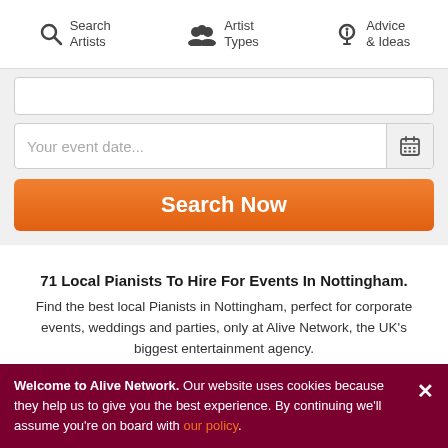Search Artists | Artist Types | Advice & Ideas
Your event date...
Search Now
71 Local Pianists To Hire For Events In Nottingham.
Find the best local Pianists in Nottingham, perfect for corporate events, weddings and parties, only at Alive Network, the UK's biggest entertainment agency.
Refine Search (71)
Sort by Popularity
[Figure (photo): Photo of a male pianist, shown from shoulders up, with short hair, neutral background]
[Figure (photo): Photo of a male pianist in formal wear standing near a grand piano in a rustic room with windows]
Welcome to Alive Network. Our website uses cookies because they help us to give you the best experience. By continuing we'll assume you're on board with our policy.